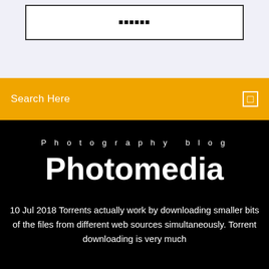[Figure (screenshot): White box with bordered outline containing bold monospace text, set against a light blue-grey background]
Search Here
Photography blog
Photomedia
10 Jul 2018 Torrents actually work by downloading smaller bits of the files from different web sources simultaneously. Torrent downloading is very much